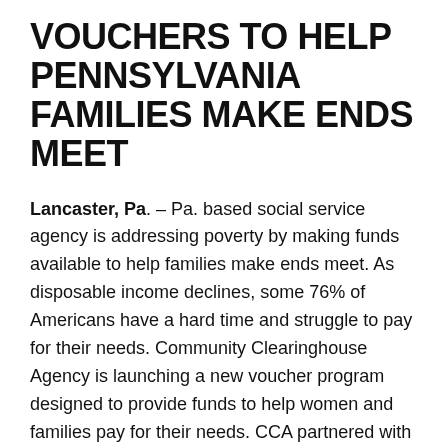VOUCHERS TO HELP PENNSYLVANIA FAMILIES MAKE ENDS MEET
Lancaster, Pa. – Pa. based social service agency is addressing poverty by making funds available to help families make ends meet. As disposable income declines, some 76% of Americans have a hard time and struggle to pay for their needs. Community Clearinghouse Agency is launching a new voucher program designed to provide funds to help women and families pay for their needs. CCA partnered with the Trade Exchange Network who will provide their members with the funds they need to pay for things they want. The unique feature is that rather than cash, Credits serve as currency. Each member gets a free checking account to write checks to pay for goods or services from other members. Checking accounts are